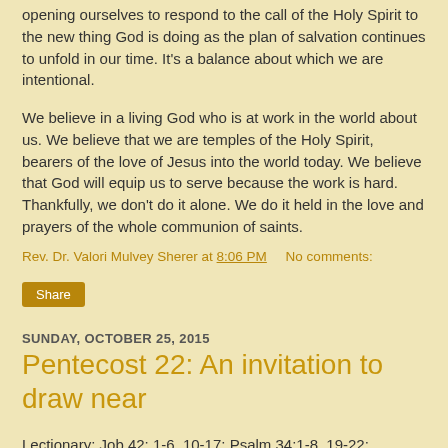opening ourselves to respond to the call of the Holy Spirit to the new thing God is doing as the plan of salvation continues to unfold in our time. It's a balance about which we are intentional.
We believe in a living God who is at work in the world about us. We believe that we are temples of the Holy Spirit, bearers of the love of Jesus into the world today. We believe that God will equip us to serve because the work is hard. Thankfully, we don't do it alone. We do it held in the love and prayers of the whole communion of saints.
Rev. Dr. Valori Mulvey Sherer at 8:06 PM    No comments:
Share
SUNDAY, OCTOBER 25, 2015
Pentecost 22: An invitation to draw near
Lectionary: Job 42; 1-6, 10-17; Psalm 34:1-8, 19-22;